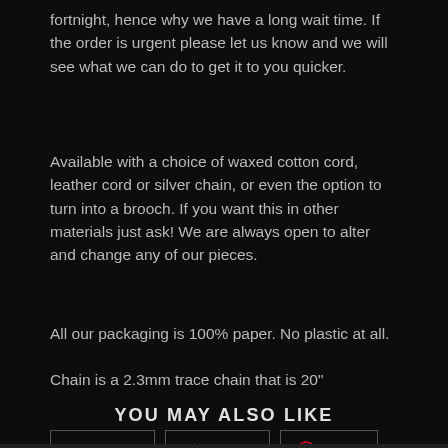fortnight, hence why we have a long wait time. If the order is urgent please let us know and we will see what we can do to get it to you quicker.
Available with a choice of waxed cotton cord, leather cord or silver chain, or even the option to turn into a brooch. If you want this in other materials just ask! We are always open to alter and change any of our pieces.
All our packaging is 100% paper. No plastic at all.
Chain is a 2.3mm trace chain that is 20"
SHARE   TWEET   PIN IT
YOU MAY ALSO LIKE